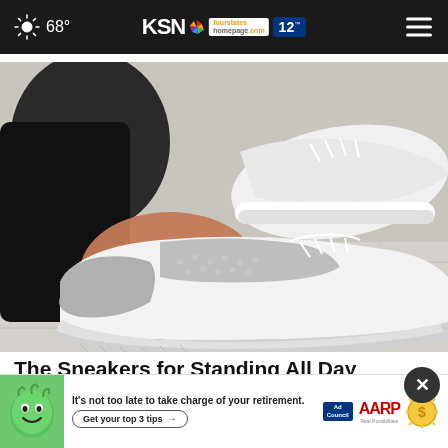68° KSN fourstates homepage .com 12
[Figure (photo): Close-up photo of a person's feet wearing white and gray knit sneakers, being put on by hand, on a light wood floor background]
The Sneakers for Standing All Day Without Discomfort - Now 50% off
Sursell
[Figure (infographic): Advertisement banner: 'It's not too late to take charge of your retirement. Get your top 3 tips →' with Ad Council and AARP logos, green cartoon face mascot]